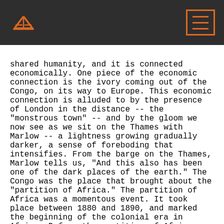[Book reader app header with logo and menu button]
shared humanity, and it is connected economically. One piece of the economic connection is the ivory coming out of the Congo, on its way to Europe. This economic connection is alluded to by the presence of London in the distance -- the "monstrous town" -- and by the gloom we now see as we sit on the Thames with Marlow -- a lightness growing gradually darker, a sense of foreboding that intensifies. From the barge on the Thames, Marlow tells us, "And this also has been one of the dark places of the earth." The Congo was the place that brought about the "partition of Africa." The partition of Africa was a momentous event. It took place between 1880 and 1890, and marked the beginning of the colonial era in Africa. Before the partition of Africa, many European countries had nothing but "toeholds" in Africa. Those toeholds were